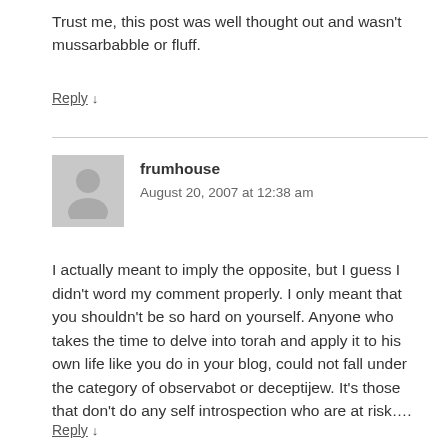Trust me, this post was well thought out and wasn't mussarbabble or fluff.
Reply ↓
frumhouse
August 20, 2007 at 12:38 am
I actually meant to imply the opposite, but I guess I didn't word my comment properly. I only meant that you shouldn't be so hard on yourself. Anyone who takes the time to delve into torah and apply it to his own life like you do in your blog, could not fall under the category of observabot or deceptijew. It's those that don't do any self introspection who are at risk….
Reply ↓